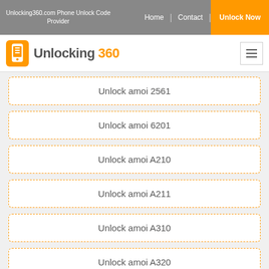Unlocking360.com Phone Unlock Code Provider | Home | Contact | Unlock Now
[Figure (logo): Unlocking 360 logo with orange phone icon and text 'Unlocking 360']
Unlock amoi 2561
Unlock amoi 6201
Unlock amoi A210
Unlock amoi A211
Unlock amoi A310
Unlock amoi A320